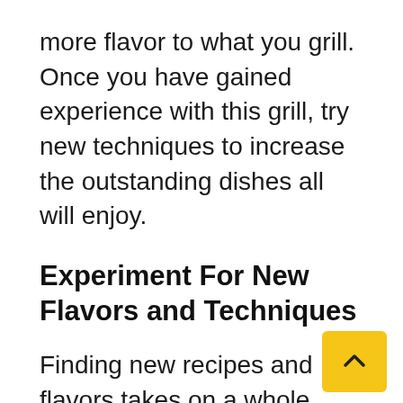more flavor to what you grill. Once you have gained experience with this grill, try new techniques to increase the outstanding dishes all will enjoy.
Experiment For New Flavors and Techniques
Finding new recipes and flavors takes on a whole different meaning when you are trying to improve your grilling, experimentation gives th opportunity to try! You have begun a